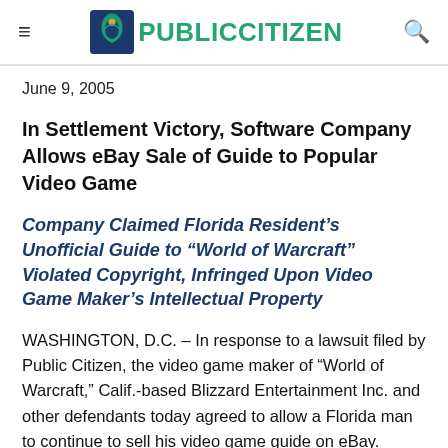Public Citizen
June 9, 2005
In Settlement Victory, Software Company Allows eBay Sale of Guide to Popular Video Game
Company Claimed Florida Resident’s Unofficial Guide to “World of Warcraft” Violated Copyright, Infringed Upon Video Game Maker’s Intellectual Property
WASHINGTON, D.C. – In response to a lawsuit filed by Public Citizen, the video game maker of “World of Warcraft,” Calif.-based Blizzard Entertainment Inc. and other defendants today agreed to allow a Florida man to continue to sell his video game guide on eBay.
The lawsuit, filed in March in the U.S. District Court